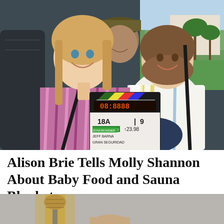[Figure (photo): Two women sitting in the back seat of a vehicle, smiling. The woman on the left wears a purple/pink striped top and holds a film clapperboard showing '18A 9' and '23.98 fps'. The woman on the right wears a white and yellow striped cardigan. A man in a cap is visible in the background between them. Outside the windows is a green lawn and palm trees.]
Alison Brie Tells Molly Shannon About Baby Food and Sauna Blankets
[Figure (photo): Partial view of a microphone on a stand against a grey background, cropped at the bottom of the page.]